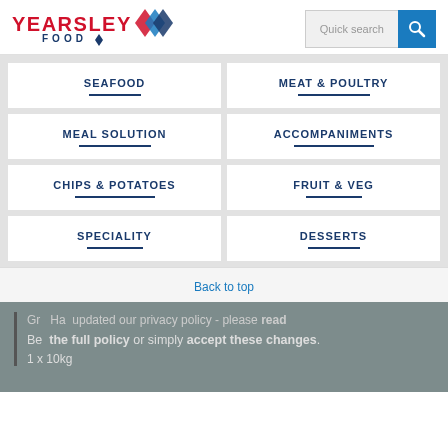[Figure (logo): Yearsley Food logo with red text YEARSLEY and blue diamond shapes, FOOD in navy below]
Quick search
SEAFOOD
MEAT & POULTRY
MEAL SOLUTION
ACCOMPANIMENTS
CHIPS & POTATOES
FRUIT & VEG
SPECIALITY
DESSERTS
Back to top
We have updated our privacy policy - please read the full policy or simply accept these changes.
Gr Be 1 x 10kg